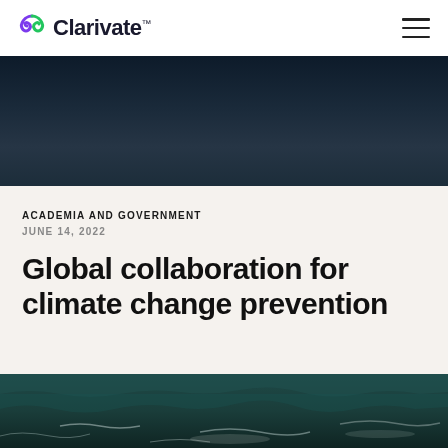Clarivate
[Figure (photo): Dark aerial photo of ocean water, deep navy/black tones]
ACADEMIA AND GOVERNMENT
JUNE 14, 2022
Global collaboration for climate change prevention
[Figure (photo): Aerial photo of ocean waves with teal/dark green water and white sea foam]